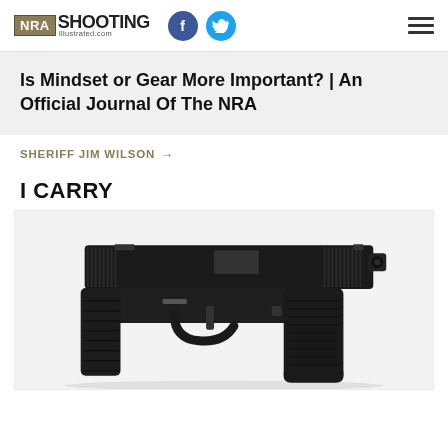NRA Shooting Illustrated | illustrated.com | Facebook | Twitter | Menu
Is Mindset or Gear More Important? | An Official Journal Of The NRA
SHERIFF JIM WILSON →
I CARRY
[Figure (photo): Side profile photo of a black semi-automatic pistol (Glock) on a white/light grey background]